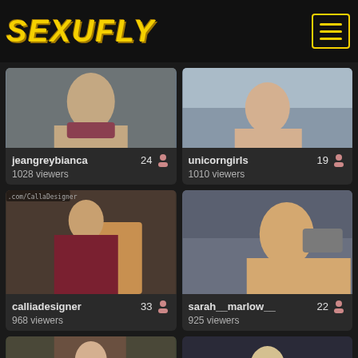SEXUFLY
[Figure (screenshot): Webcam thumbnail for jeangreybianca]
jeangreybianca   24
1028 viewers
[Figure (screenshot): Webcam thumbnail for unicorngirls]
unicorngirls   19
1010 viewers
[Figure (photo): Webcam stream photo for calliadesigner]
calliadesigner   33
968 viewers
[Figure (photo): Webcam stream photo for sarah__marlow__]
sarah__marlow__   22
925 viewers
[Figure (photo): Webcam stream photo bottom left, partial view]
[Figure (photo): Webcam stream photo bottom right, partial view]